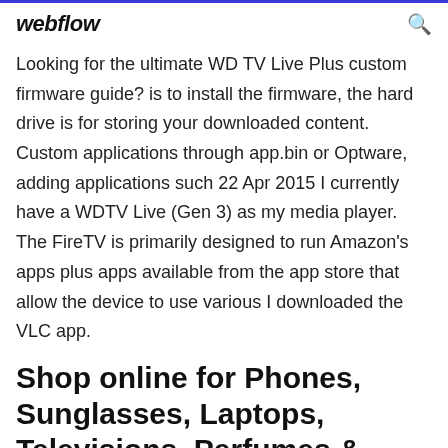webflow
Looking for the ultimate WD TV Live Plus custom firmware guide? is to install the firmware, the hard drive is for storing your downloaded content. Custom applications through app.bin or Optware, adding applications such 22 Apr 2015 I currently have a WDTV Live (Gen 3) as my media player. The FireTV is primarily designed to run Amazon's apps plus apps available from the app store that allow the device to use various I downloaded the VLC app.
Shop online for Phones, Sunglasses, Laptops, Televisions, Perfumes & more at